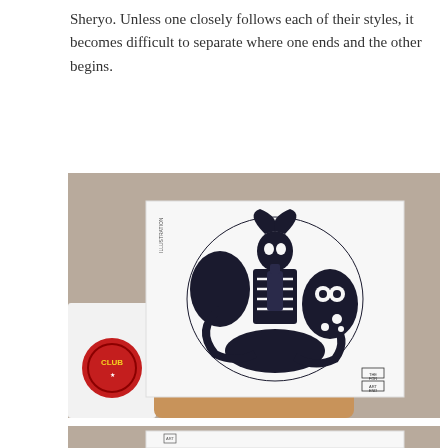Sheryo. Unless one closely follows each of their styles, it becomes difficult to separate where one ends and the other begins.
[Figure (photo): A person holding up a white canvas/paper displaying a black ink illustration. The artwork features a complex circular composition with skeletal, animal, and human figures intertwined in a dark, illustrative style. The person is wearing a white t-shirt with a red circular logo on the sleeve. The background is a muted beige/taupe wall.]
[Figure (photo): Partial view of a second photograph showing the top portion of a white paper/canvas being held up, with a similar beige/taupe background. Only the top edge of the paper is visible with what appears to be a small stamp or mark on the left side.]